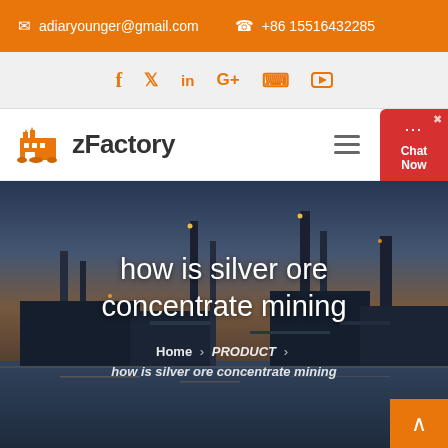adiaryounger@gmail.com  +86 15516432285
[Figure (other): Social media icons row: Facebook, Twitter, LinkedIn, Google+, Pinterest, YouTube in orange]
[Figure (logo): zFactory logo with orange factory icon and bold text 'zFactory']
[Figure (photo): Industrial factory/refinery at dusk with water reflection, hero banner image]
how is silver ore concentrate mining
Home › PRODUCT › how is silver ore concentrate mining